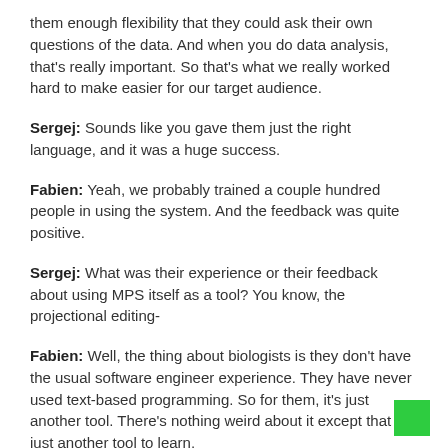them enough flexibility that they could ask their own questions of the data. And when you do data analysis, that's really important. So that's what we really worked hard to make easier for our target audience.
Sergej: Sounds like you gave them just the right language, and it was a huge success.
Fabien: Yeah, we probably trained a couple hundred people in using the system. And the feedback was quite positive.
Sergej: What was their experience or their feedback about using MPS itself as a tool? You know, the projectional editing-
Fabien: Well, the thing about biologists is they don't have the usual software engineer experience. They have never used text-based programming. So for them, it's just another tool. There's nothing weird about it except that it's just another tool to learn.